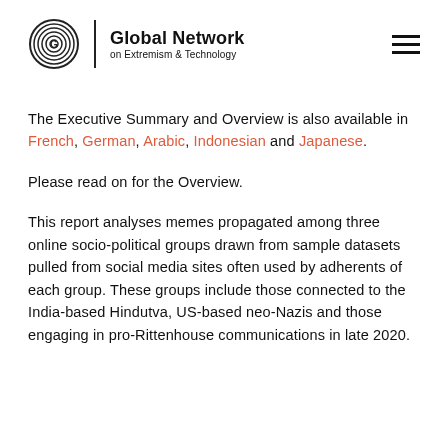Global Network on Extremism & Technology
The Executive Summary and Overview is also available in French, German, Arabic, Indonesian and Japanese.
Please read on for the Overview.
This report analyses memes propagated among three online socio-political groups drawn from sample datasets pulled from social media sites often used by adherents of each group. These groups include those connected to the India-based Hindutva, US-based neo-Nazis and those engaging in pro-Rittenhouse communications in late 2020.